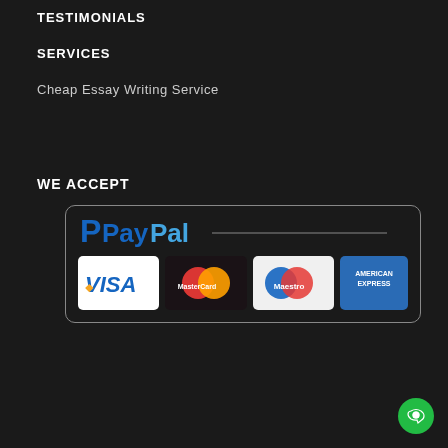TESTIMONIALS
SERVICES
Cheap Essay Writing Service
WE ACCEPT
[Figure (logo): Payment methods accepted: PayPal, Visa, MasterCard, Maestro, American Express, shown inside a rounded rectangle box]